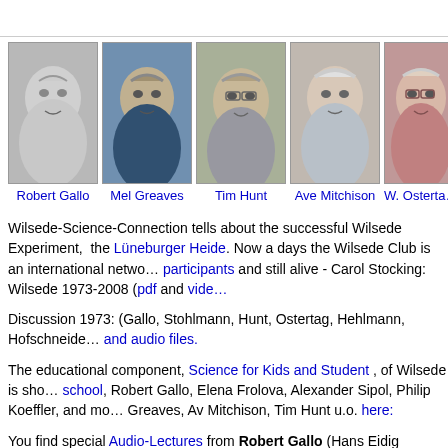[Figure (photo): Row of five portrait photographs: Robert Gallo (black and white), Mel Greaves, Tim Hunt (with glasses), Ave Mitchison, and W. Ostertag (partially cropped), each with their name label below in blue]
Wilsede-Science-Connection tells about the successful Wilsede Experiment, the Lüneburger Heide. Now a days the Wilsede Club is an international network… participants and still alive - Carol Stocking: Wilsede 1973-2008 (pdf and video…
Discussion 1973: (Gallo, Stohlmann, Hunt, Ostertag, Hehlmann, Hofschneide… and audio files.
The educational component, Science for Kids and Student, of Wilsede is sho… school, Robert Gallo, Elena Frolova, Alexander Sipol, Philip Koeffler, and more… Greaves, Av Mitchison, Tim Hunt u.o. here:
You find special Audio-Lectures from Robert Gallo (Hans Eidig Lecture: and … Ohno Music and Genes 1987 and 1988 .